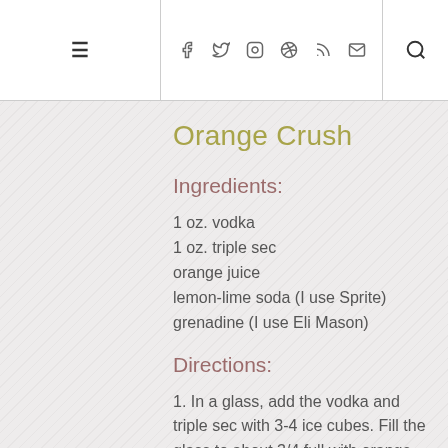≡  f  t  ☷  ⊕  )))  ✉  🔍
Orange Crush
Ingredients:
1 oz. vodka
1 oz. triple sec
orange juice
lemon-lime soda (I use Sprite)
grenadine (I use Eli Mason)
Directions:
1. In a glass, add the vodka and triple sec with 3-4 ice cubes. Fill the glass to about 3/4 full with orange juice. Top with a big splash of lemon-lime soda and a small splash of grenadine. Stir and drink!